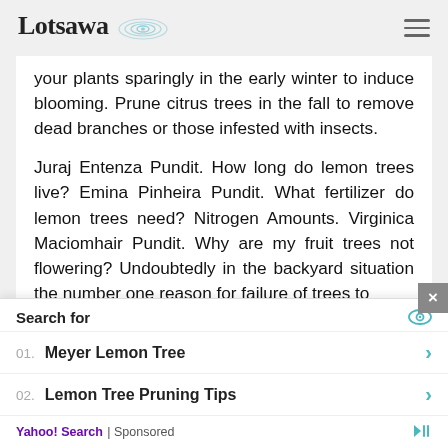Lotsawa [logo]
your plants sparingly in the early winter to induce blooming. Prune citrus trees in the fall to remove dead branches or those infested with insects.
Juraj Entenza Pundit. How long do lemon trees live? Emina Pinheira Pundit. What fertilizer do lemon trees need? Nitrogen Amounts. Virginica Maciomhair Pundit. Why are my fruit trees not flowering? Undoubtedly in the backyard situation the number one reason for failure of trees to
Search for
01. Meyer Lemon Tree
02. Lemon Tree Pruning Tips
Yahoo! Search | Sponsored